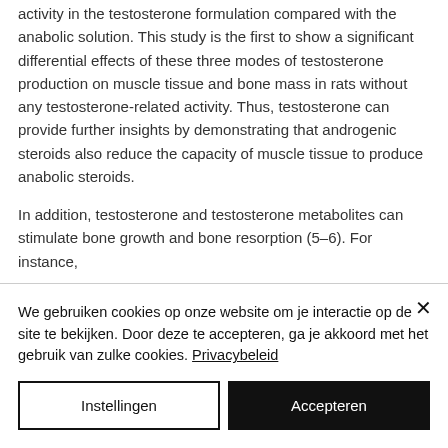activity in the testosterone formulation compared with the anabolic solution. This study is the first to show a significant differential effects of these three modes of testosterone production on muscle tissue and bone mass in rats without any testosterone-related activity. Thus, testosterone can provide further insights by demonstrating that androgenic steroids also reduce the capacity of muscle tissue to produce anabolic steroids.
In addition, testosterone and testosterone metabolites can stimulate bone growth and bone resorption (5–6). For instance,
We gebruiken cookies op onze website om je interactie op de site te bekijken. Door deze te accepteren, ga je akkoord met het gebruik van zulke cookies. Privacybeleid